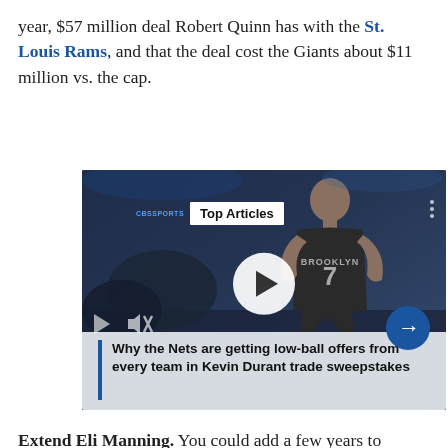year, $57 million deal Robert Quinn has with the St. Louis Rams, and that the deal cost the Giants about $11 million vs. the cap.
[Figure (screenshot): Video player screenshot showing a Brooklyn Nets basketball player (Kevin Durant #7) with a 'Top Articles' badge overlay. Caption reads: 'Why the Nets are getting low-ball offers from every team in Kevin Durant trade sweepstakes'. Video controls include play button, mute, and next arrow.]
Extend Eli Manning. You could add a few years to Manning's deal, which expires after the 2015 season. Let's say the Giants added three years and lowered his